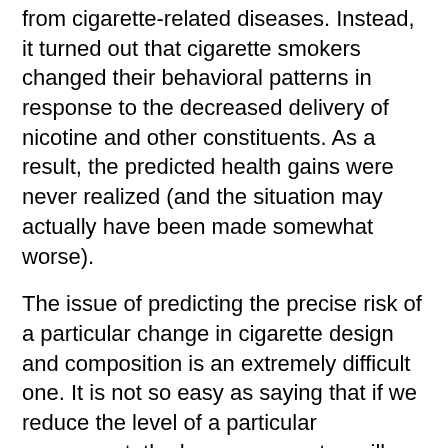from cigarette-related diseases. Instead, it turned out that cigarette smokers changed their behavioral patterns in response to the decreased delivery of nicotine and other constituents. As a result, the predicted health gains were never realized (and the situation may actually have been made somewhat worse).
The issue of predicting the precise risk of a particular change in cigarette design and composition is an extremely difficult one. It is not so easy as saying that if we reduce the level of a particular component, the lung cancer rates will decline. In fact, when cigarette companies went along with public health authorities and greatly reduced the yields of every major smoke component, the end result was the absence of any health protection. This is too complex a business for a researcher to come along and tell the New York Times that he has a solution that will prevent 50% of lung cancer deaths.
A number of cigarette companies have experimented with products in which the levels of particular smoke constituents are significantly reduced. The result? It turns out that while the levels of these constituents went down, the levels of